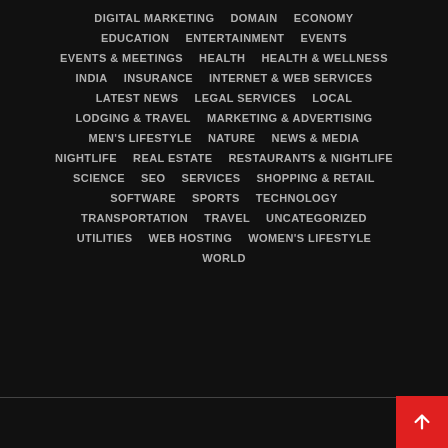DIGITAL MARKETING
DOMAIN
ECONOMY
EDUCATION
ENTERTAINMENT
EVENTS
EVENTS & MEETINGS
HEALTH
HEALTH & WELLNESS
INDIA
INSURANCE
INTERNET & WEB SERVICES
LATEST NEWS
LEGAL SERVICES
LOCAL
LODGING & TRAVEL
MARKETING & ADVERTISING
MEN'S LIFESTYLE
NATURE
NEWS & MEDIA
NIGHTLIFE
REAL ESTATE
RESTAURANTS & NIGHTLIFE
SCIENCE
SEO
SERVICES
SHOPPING & RETAIL
SOFTWARE
SPORTS
TECHNOLOGY
TRANSPORTATION
TRAVEL
UNCATEGORIZED
UTILITIES
WEB HOSTING
WOMEN'S LIFESTYLE
WORLD